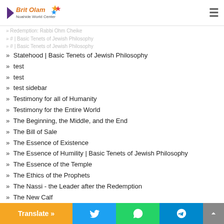Brit Olam – Noahide World Center
» Redemption: Rabbi Ohm Cheike
» # | Basic Tenets of Jewish Philosophy
» # | Basic Tenets of Jewish Philosophy
» Statehood | Basic Tenets of Jewish Philosophy
» test
» test
» test sidebar
» Testimony for all of Humanity
» Testimony for the Entire World
» The Beginning, the Middle, and the End
» The Bill of Sale
» The Essence of Existence
» The Essence of Humility | Basic Tenets of Jewish Philosophy
» The Essence of the Temple
» The Ethics of the Prophets
» The Nassi - the Leader after the Redemption
» The New Calf
» The Soul | Basic Tenets of Jewish Philosophy
» The Soul of a Gentile | Basic Tenets of Jewish Philosophy
Translate » | Twitter | WhatsApp | Telegram